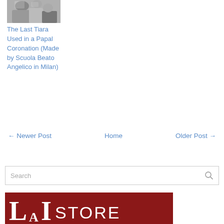[Figure (photo): Black and white photograph of a papal coronation tiara]
The Last Tiara Used in a Papal Coronation (Made by Scuola Beato Angelico in Milan)
← Newer Post    Home    Older Post →
[Figure (screenshot): Search bar with search icon]
[Figure (logo): LA STORE logo on dark red background]